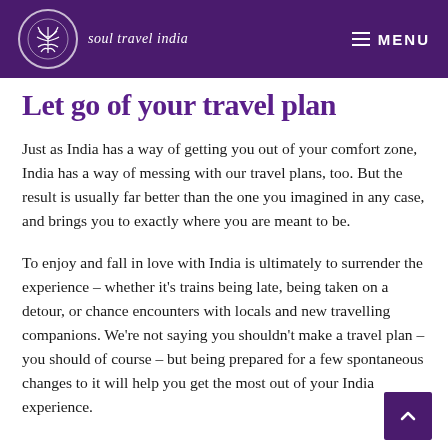soul travel india | MENU
Let go of your travel plan
Just as India has a way of getting you out of your comfort zone, India has a way of messing with our travel plans, too. But the result is usually far better than the one you imagined in any case, and brings you to exactly where you are meant to be.
To enjoy and fall in love with India is ultimately to surrender the experience – whether it's trains being late, being taken on a detour, or chance encounters with locals and new travelling companions. We're not saying you shouldn't make a travel plan – you should of course – but being prepared for a few spontaneous changes to it will help you get the most out of your India experience.